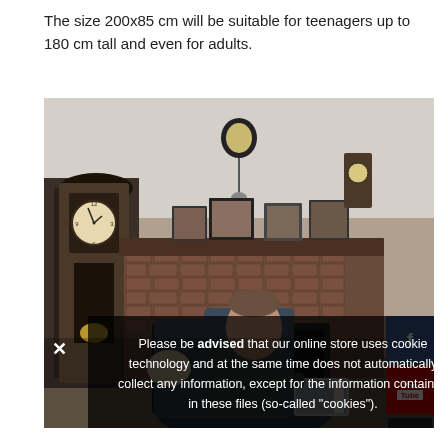The size 200x85 cm will be suitable for teenagers up to 180 cm tall and even for adults.
[Figure (photo): A man sitting in a dark armchair reading a tablet in a living room with a large brick fireplace, antique clocks, and picture frames on the mantel. Social media icons (Facebook, YouTube, Instagram) overlay the right edge of the image.]
Please be advised that our online store uses cookie technology and at the same time does not automatically collect any information, except for the information contained in these files (so-called "cookies").